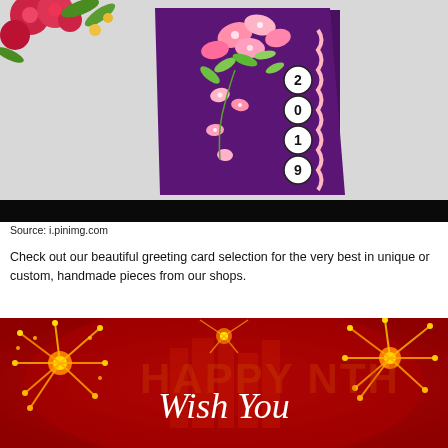[Figure (photo): A handmade greeting card with purple background, pink and yellow paper flowers, and the year 2019 written in circles on the right side. Red flowers and greenery visible in the top left corner on a white surface.]
Source: i.pinimg.com
Check out our beautiful greeting card selection for the very best in unique or custom, handmade pieces from our shops.
[Figure (photo): A festive red background with golden fireworks and the text 'Wish You' written in white italic font. Background shows faint city buildings silhouette.]